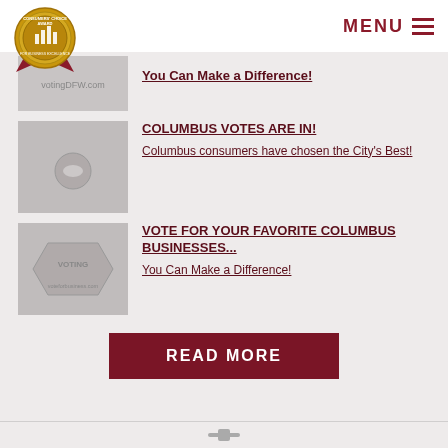[Figure (logo): Consumers' Choice Award circular gold medal logo with red ribbons]
MENU
You Can Make a Difference!
COLUMBUS VOTES ARE IN!
Columbus consumers have chosen the City's Best!
VOTE FOR YOUR FAVORITE COLUMBUS BUSINESSES...
You Can Make a Difference!
READ MORE